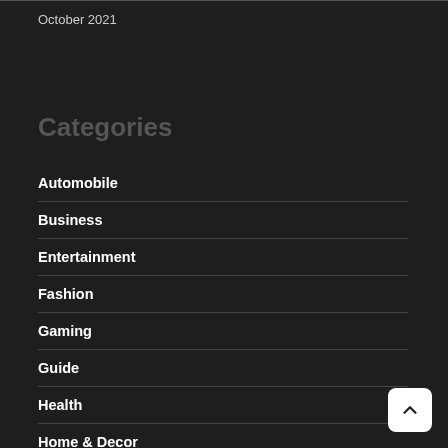October 2021
Categories
Automobile
Business
Entertainment
Fashion
Gaming
Guide
Health
Home & Decor